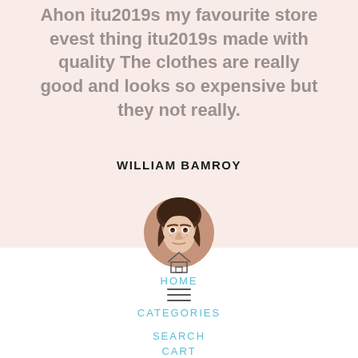Ahon itu2019s my favourite store evest thing itu2019s made with quality The clothes are really good and looks so expensive but they not really.
WILLIAM BAMROY
[Figure (photo): Circular profile photo of a young woman with brown hair]
HOME
CATEGORIES
SEARCH
CART